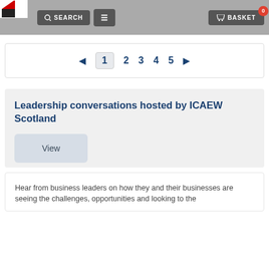SEARCH | BASKET 0
◄ 1 2 3 4 5 ►
Leadership conversations hosted by ICAEW Scotland
View
Hear from business leaders on how they and their businesses are seeing the challenges, opportunities and looking to the